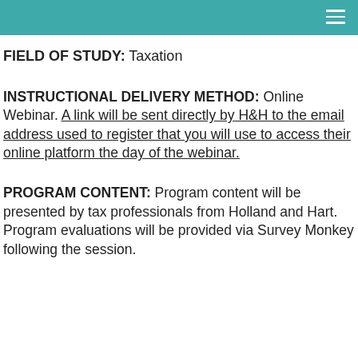FIELD OF STUDY: Taxation
INSTRUCTIONAL DELIVERY METHOD: Online Webinar. A link will be sent directly by H&H to the email address used to register that you will use to access their online platform the day of the webinar.
PROGRAM CONTENT: Program content will be presented by tax professionals from Holland and Hart. Program evaluations will be provided via Survey Monkey following the session.